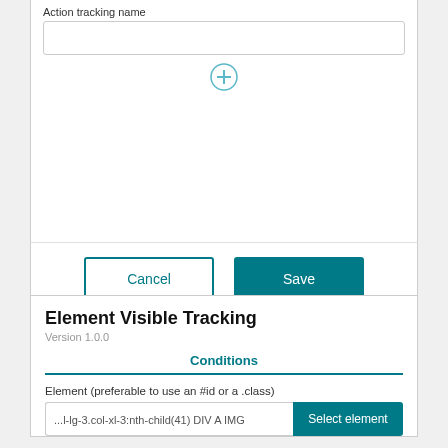Action tracking name
[Figure (screenshot): Empty text input field for action tracking name, followed by a plus (+) circle button below]
[Figure (screenshot): Cancel and Save button row at bottom of form panel]
Element Visible Tracking
Version 1.0.0
Conditions
Element (preferable to use an #id or a .class)
[Figure (screenshot): Input field showing '...l-lg-3.col-xl-3:nth-child(41) DIV A IMG' with a teal 'Select element' button]